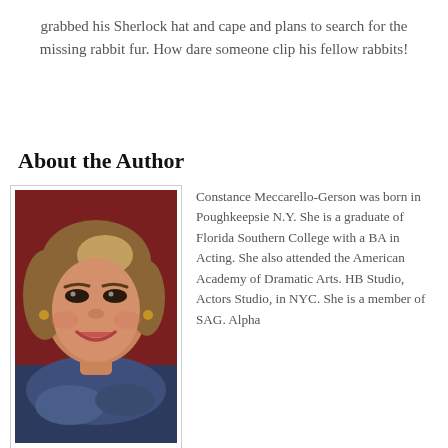grabbed his Sherlock hat and cape and plans to search for the missing rabbit fur. How dare someone clip his fellow rabbits!
About the Author
[Figure (photo): Portrait photo of a woman with short brown hair, wearing a blue scarf, smiling, against a dark red background.]
Constance Meccarello-Gerson was born in Poughkeepsie N.Y. She is a graduate of Florida Southern College with a BA in Acting. She also attended the American Academy of Dramatic Arts. HB Studio, Actors Studio, in NYC. She is a member of SAG. Alpha